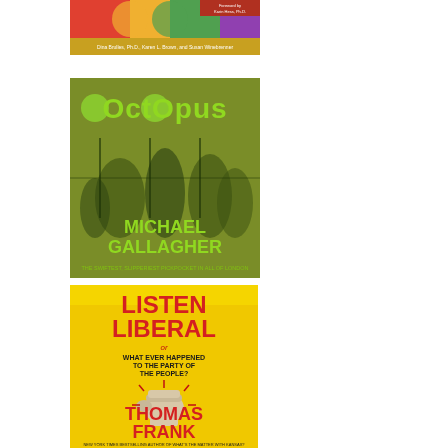[Figure (illustration): Book cover with colorful design, authors: Dina Brulles Ph.D., Karen L. Brown, and Susan Winebrenner, with Foreword by Karin Hess Ph.D.]
[Figure (illustration): Book cover 'OctOpus' by Michael Gallagher - The Swiftest, Slipperiest Pickpocket in all of London. Green-tinted historical photo of people on a street.]
[Figure (illustration): Book cover 'Listen Liberal or What Ever Happened to the Party of the People?' by Thomas Frank. Yellow background with red title text and fist illustration.]